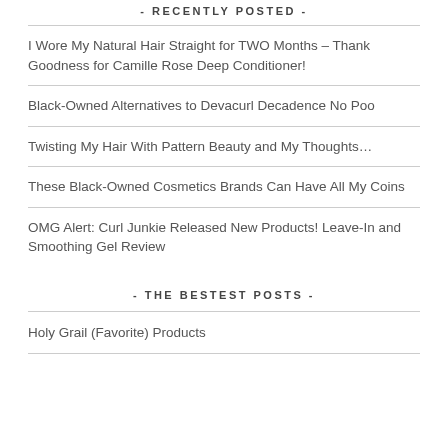- RECENTLY POSTED -
I Wore My Natural Hair Straight for TWO Months – Thank Goodness for Camille Rose Deep Conditioner!
Black-Owned Alternatives to Devacurl Decadence No Poo
Twisting My Hair With Pattern Beauty and My Thoughts…
These Black-Owned Cosmetics Brands Can Have All My Coins
OMG Alert: Curl Junkie Released New Products! Leave-In and Smoothing Gel Review
- THE BESTEST POSTS -
Holy Grail (Favorite) Products